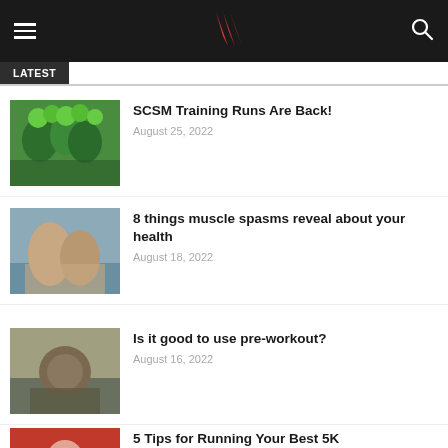Latest
SCSM Training Runs Are Back!
August 25, 2022
8 things muscle spasms reveal about your health
August 18, 2022
Is it good to use pre-workout?
August 16, 2022
5 Tips for Running Your Best 5K
August 8, 2022